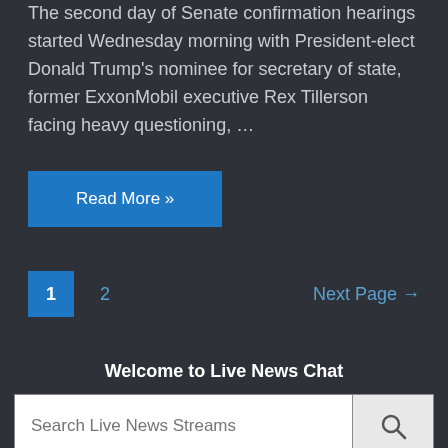The second day of Senate confirmation hearings started Wednesday morning with President-elect Donald Trump's nominee for secretary of state, former ExxonMobil executive Rex Tillerson facing heavy questioning, …
Read More »
1  2  Next Page →
Welcome to Live News Chat
Search Live News Streams